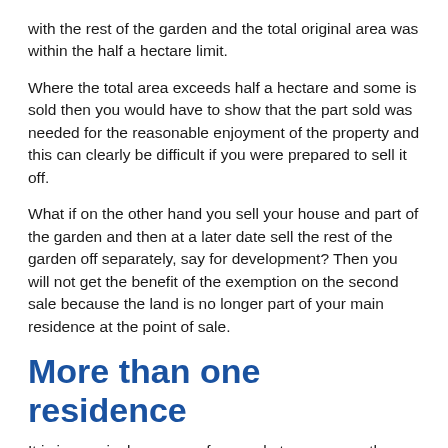with the rest of the garden and the total original area was within the half a hectare limit.
Where the total area exceeds half a hectare and some is sold then you would have to show that the part sold was needed for the reasonable enjoyment of the property and this can clearly be difficult if you were prepared to sell it off.
What if on the other hand you sell your house and part of the garden and then at a later date sell the rest of the garden off separately, say for development? Then you will not get the benefit of the exemption on the second sale because the land is no longer part of your main residence at the point of sale.
More than one residence
It is increasingly common for people to own more than one residence. However an individual can only benefit from the CGT exemption on one property at a time. In